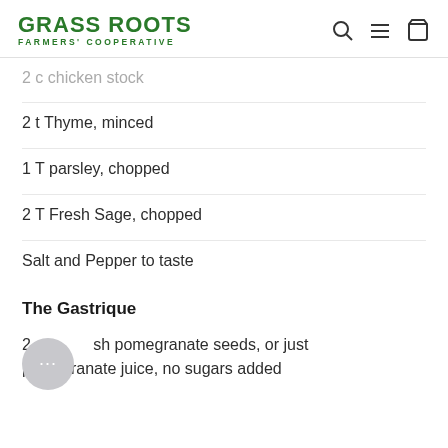GRASS ROOTS FARMERS' COOPERATIVE
2 c chicken stock
2 t Thyme, minced
1 T parsley, chopped
2 T Fresh Sage, chopped
Salt and Pepper to taste
The Gastrique
2 c fresh pomegranate seeds, or just pomegranate juice, no sugars added